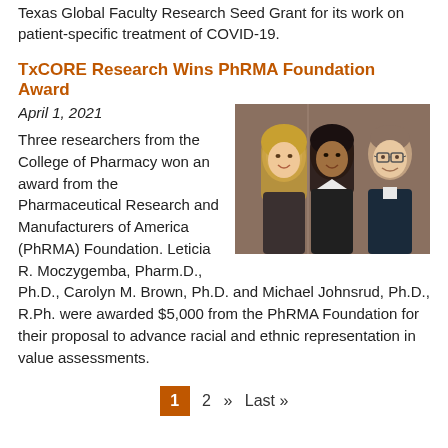Texas Global Faculty Research Seed Grant for its work on patient-specific treatment of COVID-19.
TxCORE Research Wins PhRMA Foundation Award
April 1, 2021
[Figure (photo): Three researchers from the College of Pharmacy: two women and one man, photographed together]
Three researchers from the College of Pharmacy won an award from the Pharmaceutical Research and Manufacturers of America (PhRMA) Foundation. Leticia R. Moczygemba, Pharm.D., Ph.D., Carolyn M. Brown, Ph.D. and Michael Johnsrud, Ph.D., R.Ph. were awarded $5,000 from the PhRMA Foundation for their proposal to advance racial and ethnic representation in value assessments.
1  2  »  Last »